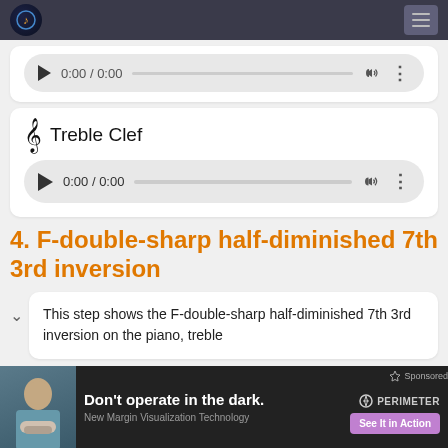Music theory website header with logo and menu
[Figure (screenshot): Partially visible audio player bar from previous section]
Treble Clef
[Figure (screenshot): Audio player showing 0:00 / 0:00 with play button, progress bar, volume and options icons]
4. F-double-sharp half-diminished 7th 3rd inversion
This step shows the F-double-sharp half-diminished 7th 3rd inversion on the piano, treble
[Figure (photo): Advertisement banner: Don't operate in the dark. Perimeter medical. New Margin Visualization Technology. See It in Action button.]